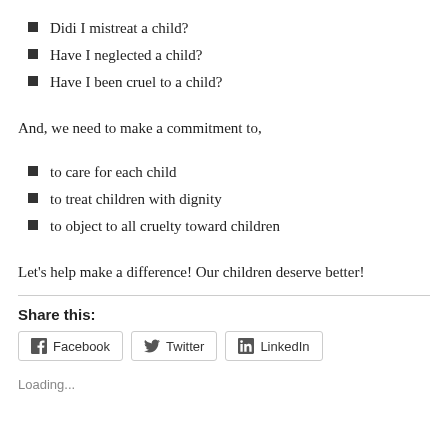Didi I mistreat a child?
Have I neglected a child?
Have I been cruel to a child?
And, we need to make a commitment to,
to care for each child
to treat children with dignity
to object to all cruelty toward children
Let's help make a difference! Our children deserve better!
Share this:
Facebook   Twitter   LinkedIn
Loading...